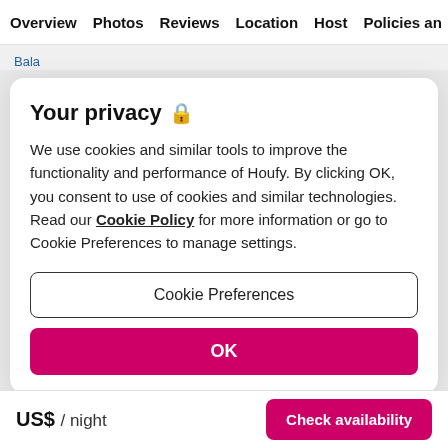Overview  Photos  Reviews  Location  Host  Policies and
Bala
Your privacy 🔒
We use cookies and similar tools to improve the functionality and performance of Houfy. By clicking OK, you consent to use of cookies and similar technologies. Read our Cookie Policy for more information or go to Cookie Preferences to manage settings.
Cookie Preferences
OK
US$ / night
Check availability